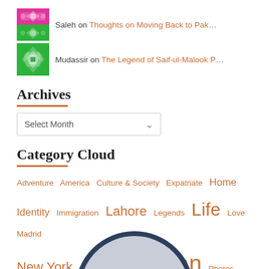Saleh on Thoughts on Moving Back to Pak...
Mudassir on The Legend of Saif-ul-Malook P...
Archives
Select Month
Category Cloud
Adventure  America  Culture & Society  Expatriate  Home  Identity  Immigration  Lahore  Legends  Life  Love  Madrid  New York  Opinion  Pakistan  Photos  Spain  Stories  Travel  World
[Figure (illustration): Partial globe/world map illustration visible at bottom of page, dark navy border circle with light blue/grey interior]